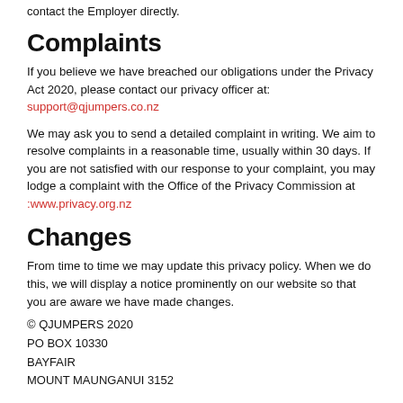contact the Employer directly.
Complaints
If you believe we have breached our obligations under the Privacy Act 2020, please contact our privacy officer at:
support@qjumpers.co.nz
We may ask you to send a detailed complaint in writing. We aim to resolve complaints in a reasonable time, usually within 30 days. If you are not satisfied with our response to your complaint, you may lodge a complaint with the Office of the Privacy Commission at
:www.privacy.org.nz
Changes
From time to time we may update this privacy policy. When we do this, we will display a notice prominently on our website so that you are aware we have made changes.
© QJUMPERS 2020
PO BOX 10330
BAYFAIR
MOUNT MAUNGANUI 3152